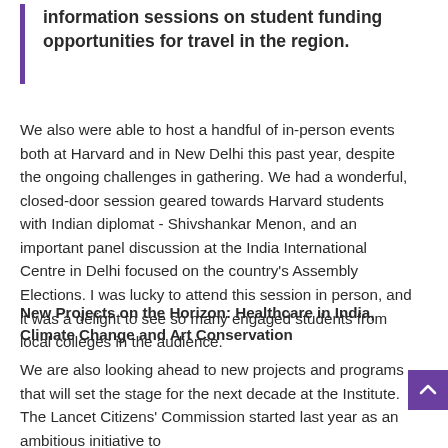information sessions on student funding opportunities for travel in the region.
We also were able to host a handful of in-person events both at Harvard and in New Delhi this past year, despite the ongoing challenges in gathering. We had a wonderful, closed-door session geared towards Harvard students with Indian diplomat - Shivshankar Menon, and an important panel discussion at the India International Centre in Delhi focused on the country’s Assembly Elections. I was lucky to attend this session in person, and it was a delight to see so many engaged students from local colleges in the audience.
New Projects on the Horizon: Healthcare in India, Climate Change and Art Conservation
We are also looking ahead to new projects and programs that will set the stage for the next decade at the Institute. The Lancet Citizens’ Commission started last year as an ambitious initiative to